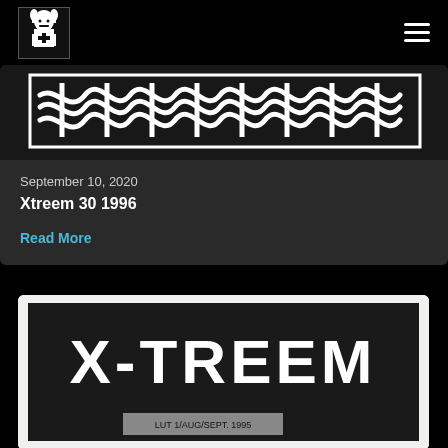[Figure (logo): Black and white logo of a knight/jester figure with a cross, in a square frame]
[Figure (illustration): Celtic knotwork decorative border band, black and white, horizontal banner]
September 10, 2020
Xtreem 30 1996
Read More
[Figure (photo): Black and white scan of a zine/magazine cover with large bold text 'X-TREEM' and small text at bottom reading 'LUT 1/AUG/SEPT 1995']